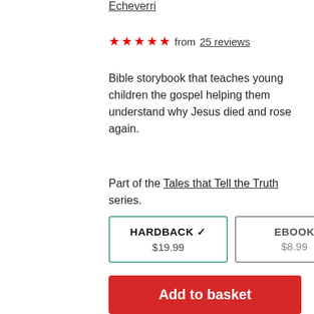Echeverri
★★★★★ from 25 reviews
Bible storybook that teaches young children the gospel helping them understand why Jesus died and rose again.
Part of the Tales that Tell the Truth series.
HARDBACK ✓ $19.99
EBOOK $8.99
Also available in 5 other languages
Quantity 1
Add to basket